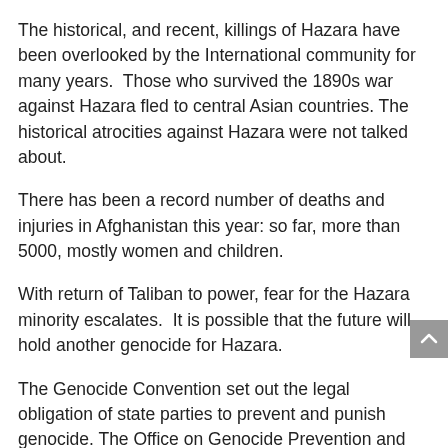The historical, and recent, killings of Hazara have been overlooked by the International community for many years.  Those who survived the 1890s war against Hazara fled to central Asian countries. The historical atrocities against Hazara were not talked about.
There has been a record number of deaths and injuries in Afghanistan this year: so far, more than 5000, mostly women and children.
With return of Taliban to power, fear for the Hazara minority escalates.  It is possible that the future will hold another genocide for Hazara.
The Genocide Convention set out the legal obligation of state parties to prevent and punish genocide. The Office on Genocide Prevention and the Responsibility supports two special advisors who can report directly to the UN Secretary-General. The special advisors “raise awareness of the causes and dynamics of